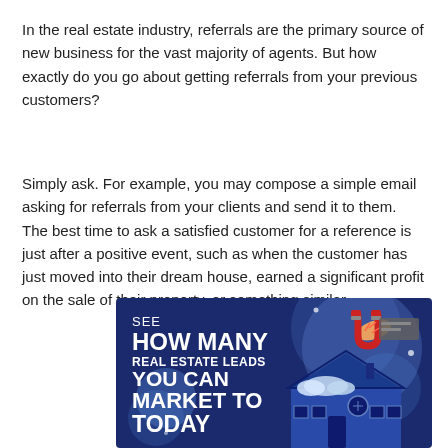In the real estate industry, referrals are the primary source of new business for the vast majority of agents. But how exactly do you go about getting referrals from your previous customers?
Simply ask. For example, you may compose a simple email asking for referrals from your clients and send it to them. The best time to ask a satisfied customer for a reference is just after a positive event, such as when the customer has just moved into their dream house, earned a significant profit on the sale of their property, or something similar.
[Figure (infographic): Dark blue promotional banner reading 'SEE HOW MANY REAL ESTATE LEADS YOU CAN MARKET TO TODAY' with a magnet illustration and a cartoon house on the right side.]